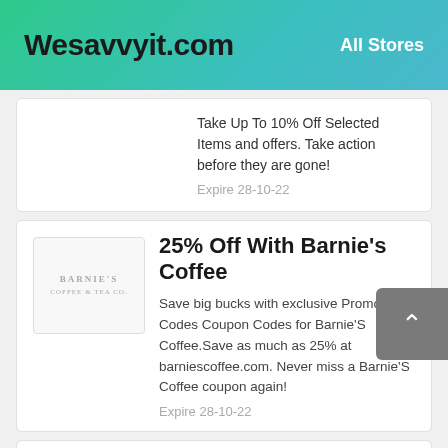Wesavvyit.com  All Stores
Take Up To 10% Off Selected Items and offers. Take action before they are gone!
Expire 28-10-22
25% Off With Barnie's Coffee
Save big bucks with exclusive Promo Codes Coupon Codes for Barnie'S Coffee.Save as much as 25% at barniescoffee.com. Never miss a Barnie'S Coffee coupon again!
Expire 28-10-22
An Extra 25% Off